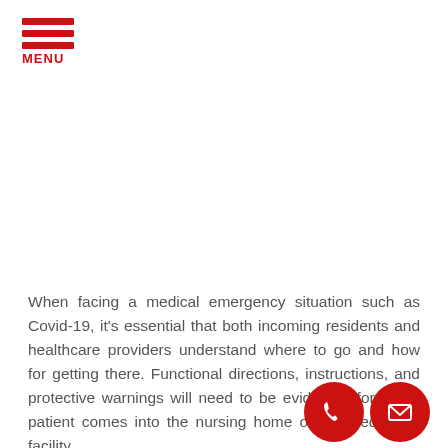MENU
When facing a medical emergency situation such as Covid-19, it's essential that both incoming residents and healthcare providers understand where to go and how for getting there. Functional directions, instructions, and protective warnings will need to be evident before your patient comes into the nursing home or assisted living facility.
The potential to minimize contact is why nursing home